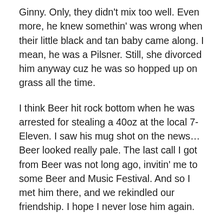Ginny. Only, they didn't mix too well. Even more, he knew somethin' was wrong when their little black and tan baby came along. I mean, he was a Pilsner. Still, she divorced him anyway cuz he was so hopped up on grass all the time.
I think Beer hit rock bottom when he was arrested for stealing a 40oz at the local 7-Eleven. I saw his mug shot on the news… Beer looked really pale. The last call I got from Beer was not long ago, invitin' me to some Beer and Music Festival. And so I met him there, and we rekindled our friendship. I hope I never lose him again.
This year's Rocktown Beer and Music Festival was PERFECT. Getting through the line couldn't have been easier, the vendors and volunteers couldn't have been friendlier, and the day couldn't have been gorgeouser